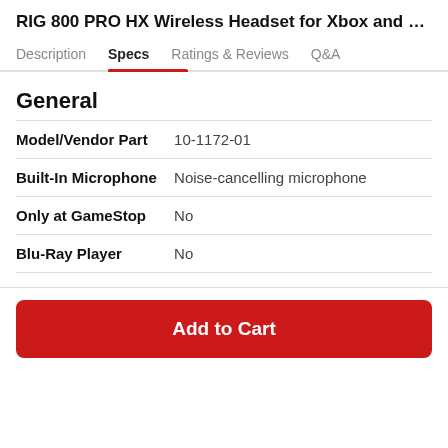RIG 800 PRO HX Wireless Headset for Xbox and Wind...
General
|  |  |
| --- | --- |
| Model/Vendor Part | 10-1172-01 |
| Built-In Microphone | Noise-cancelling microphone |
| Only at GameStop | No |
| Blu-Ray Player | No |
Add to Cart